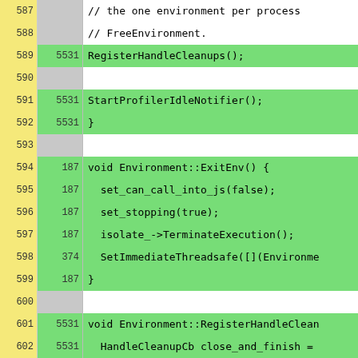[Figure (screenshot): Code coverage viewer showing source code lines 587-612 with line numbers, execution counts, and highlighted (green) covered lines. Code is from a Node.js/V8 environment implementation including RegisterHandleCleanups, ExitEnv, and related functions.]